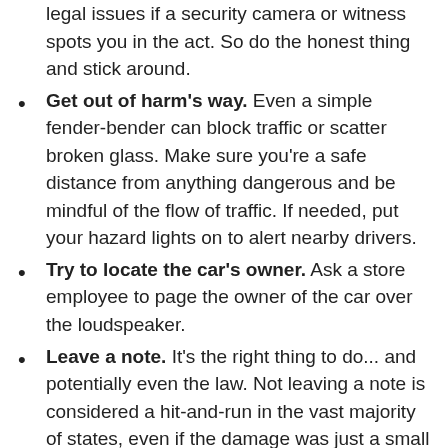legal issues if a security camera or witness spots you in the act. So do the honest thing and stick around.
Get out of harm's way. Even a simple fender-bender can block traffic or scatter broken glass. Make sure you're a safe distance from anything dangerous and be mindful of the flow of traffic. If needed, put your hazard lights on to alert nearby drivers.
Try to locate the car's owner. Ask a store employee to page the owner of the car over the loudspeaker.
Leave a note. It's the right thing to do... and potentially even the law. Not leaving a note is considered a hit-and-run in the vast majority of states, even if the damage was just a small scratch. Keep it simple and polite. Include your